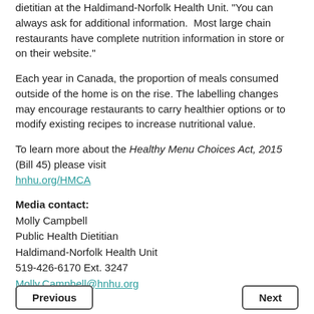dietitian at the Haldimand-Norfolk Health Unit. “You can always ask for additional information.  Most large chain restaurants have complete nutrition information in store or on their website.”
Each year in Canada, the proportion of meals consumed outside of the home is on the rise. The labelling changes may encourage restaurants to carry healthier options or to modify existing recipes to increase nutritional value.
To learn more about the Healthy Menu Choices Act, 2015 (Bill 45) please visit hnhu.org/HMCA
Media contact:
Molly Campbell
Public Health Dietitian
Haldimand-Norfolk Health Unit
519-426-6170 Ext. 3247
Molly.Campbell@hnhu.org